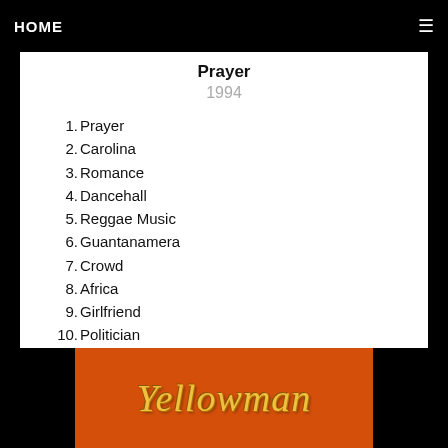HOME
Prayer
1994
1. Prayer
2. Carolina
3. Romance
4. Dancehall
5. Reggae Music
6. Guantanamera
7. Crowd
8. Africa
9. Girlfriend
10. Politician
[Figure (logo): Yellowman text logo in stylized handwritten font on orange/red background]